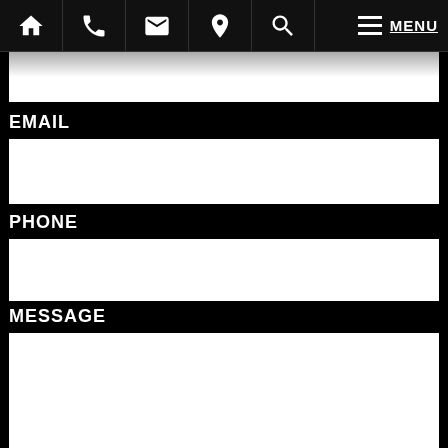Navigation bar with icons: home, phone, email, location, search, menu, MENU
EMAIL
PHONE
MESSAGE
By submitting this form I acknowledge that form submissions via this website do not create an attorney-client relationship, and any information I send is not protected by attorney-client privilege.